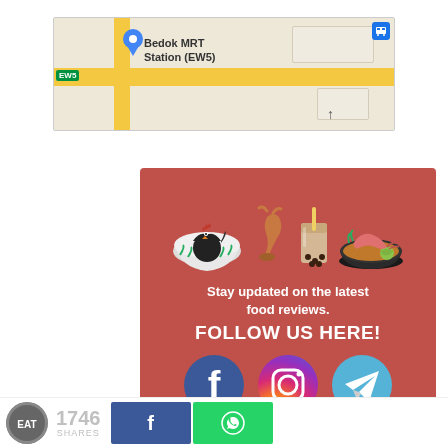[Figure (map): Google Maps screenshot showing Bedok MRT Station (EW5) with map pin, EW5 badge, and bus icon]
[Figure (infographic): Red promotional banner with food icons (bowl with rooster, chicken leg, bubble tea, prawn soup), text 'Stay updated on the latest food reviews. FOLLOW US HERE!' and Facebook, Instagram, Telegram icons]
1746 SHARES [Facebook share button] [WhatsApp share button]